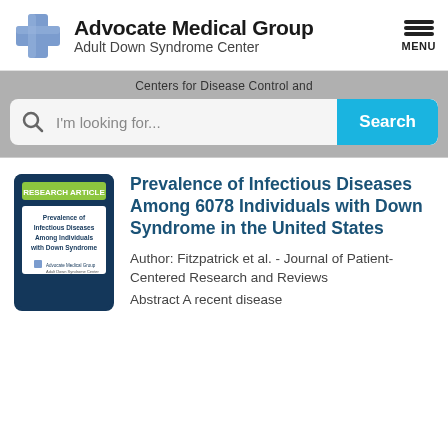[Figure (logo): Advocate Medical Group Adult Down Syndrome Center logo with blue cross symbol]
Centers for Disease Control and
[Figure (screenshot): Search bar with text 'I'm looking for...' and a cyan Search button]
[Figure (illustration): Research article thumbnail showing 'Prevalence of Infectious Diseases Among Individuals with Down Syndrome' with Advocate Medical Group branding on dark blue background]
Prevalence of Infectious Diseases Among 6078 Individuals with Down Syndrome in the United States
Author: Fitzpatrick et al. - Journal of Patient-Centered Research and Reviews
Abstract A recent disease